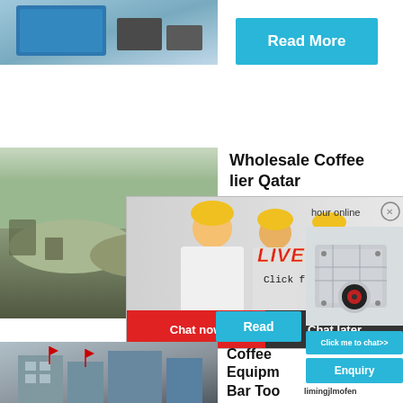[Figure (photo): Industrial blue crushing machine equipment, top portion visible]
Read More
[Figure (photo): Construction/mining site with gravel piles and machinery]
Wholesale Coffee Supplier Qatar
[Figure (infographic): Live chat popup overlay with workers in yellow hard hats, LIVE CHAT heading in red, 'Click for a Free Consultation', Chat now and Chat later buttons]
[Figure (photo): Industrial crusher machine equipment on right panel]
hour online
Read
Click me to chat>>
Enquiry
limingjlmofen
[Figure (photo): Industrial building or factory with red flags]
Coffee Equipment Bar Tool